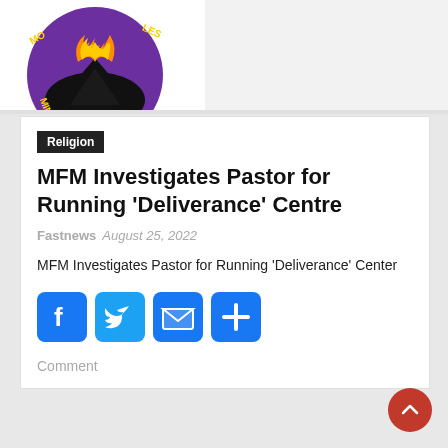[Figure (logo): MFM Ministries circular logo with purple border, flames, and mountain silhouette]
Religion
MFM Investigates Pastor for Running 'Deliverance' Centre
Fastnews  August 25, 2022
MFM Investigates Pastor for Running 'Deliverance' Center
[Figure (other): Social share buttons: Facebook, Twitter, Email, Share]
Comment